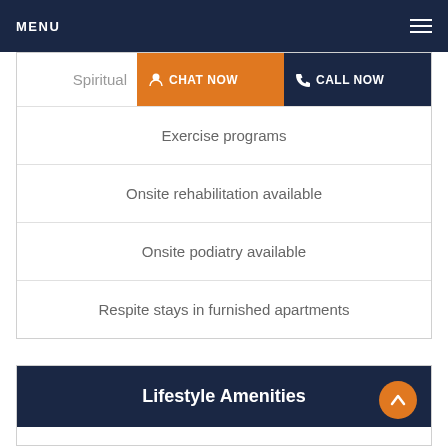MENU
Spiritual
Exercise programs
Onsite rehabilitation available
Onsite podiatry available
Respite stays in furnished apartments
Lifestyle Amenities